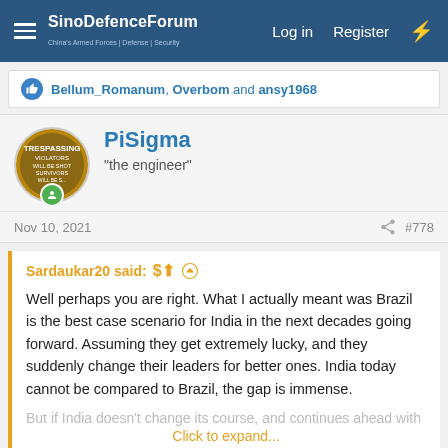SinoDefenceForum — Log in  Register
Bellum_Romanum, Overbom and ansy1968
PiSigma
"the engineer"
Nov 10, 2021   #778
Sardaukar20 said:
Well perhaps you are right. What I actually meant was Brazil is the best case scenario for India in the next decades going forward. Assuming they get extremely lucky, and they suddenly change their leaders for better ones. India today cannot be compared to Brazil, the gap is immense.
But if India doesn't change its course, and continues ahead with
Click to expand...
I don't think Brazil's level of development is reachable for